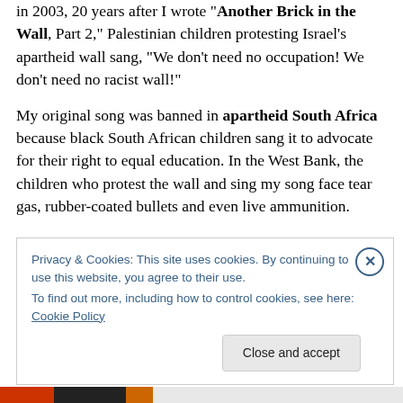in 2003, 20 years after I wrote "Another Brick in the Wall, Part 2," Palestinian children protesting Israel's apartheid wall sang, "We don't need no occupation! We don't need no racist wall!"
My original song was banned in apartheid South Africa because black South African children sang it to advocate for their right to equal education. In the West Bank, the children who protest the wall and sing my song face tear gas, rubber-coated bullets and even live ammunition.
Privacy & Cookies: This site uses cookies. By continuing to use this website, you agree to their use.
To find out more, including how to control cookies, see here: Cookie Policy